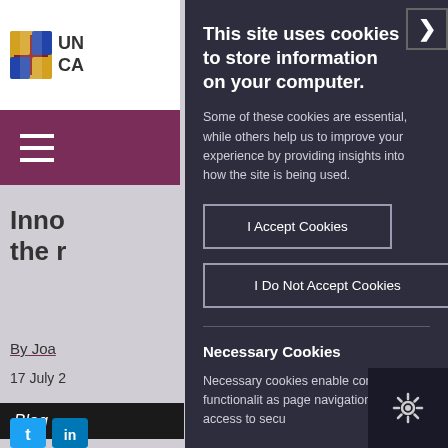[Figure (screenshot): University of Cambridge website header with shield logo showing 'UN CA' text visible, purple navigation bar with hamburger menu icon (three horizontal lines), and partially visible article content in the background]
This site uses cookies to store information on your computer.
Some of these cookies are essential, while others help us to improve your experience by providing insights into how the site is being used.
I Accept Cookies
I Do Not Accept Cookies
Necessary Cookies
Necessary cookies enable core functionality as page navigation and access to secu